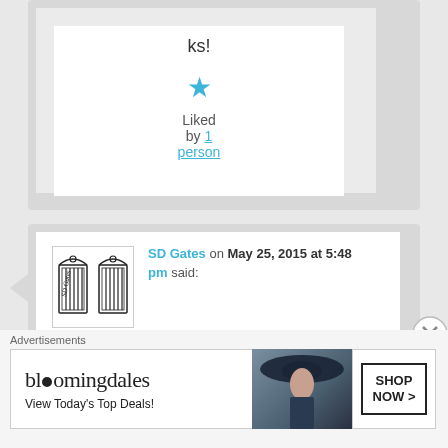ks!
[Figure (other): Blue star like icon with 'Liked by 1 person' text and link]
[Figure (other): Avatar image of SD Gates blog - illustration of ornate gate]
SD Gates on May 25, 2015 at 5:48 pm said:
Ooo, I am sure I am guilty of
Advertisements
[Figure (other): Bloomingdales advertisement banner: bloomingdales logo, View Today's Top Deals!, woman in hat photo, SHOP NOW > button]